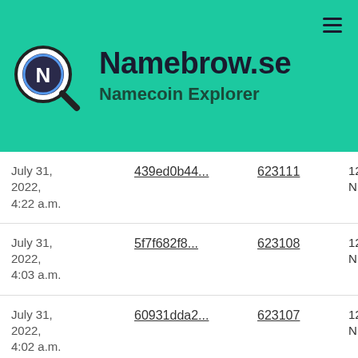Namebrow.se — Namecoin Explorer
| Date | Transaction | Block | Value |
| --- | --- | --- | --- |
| July 31, 2022, 4:22 a.m. | 439ed0b44... | 623111 | 12.500… NMC |
| July 31, 2022, 4:03 a.m. | 5f7f682f8... | 623108 | 12.5004 NMC |
| July 31, 2022, 4:02 a.m. | 60931dda2... | 623107 | 12.5000 NMC |
| July 31, 2022, 3:57 a.m. | 654089193... | 623105 | 12.5249 NMC |